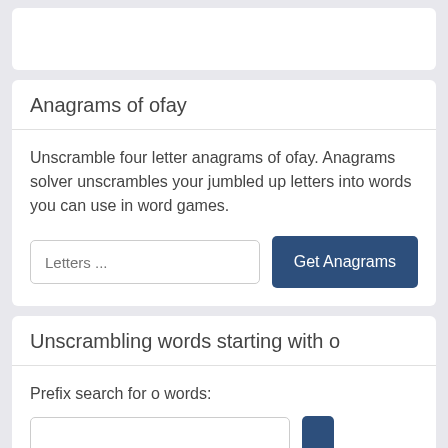Anagrams of ofay
Unscramble four letter anagrams of ofay. Anagrams solver unscrambles your jumbled up letters into words you can use in word games.
Unscrambling words starting with o
Prefix search for o words: